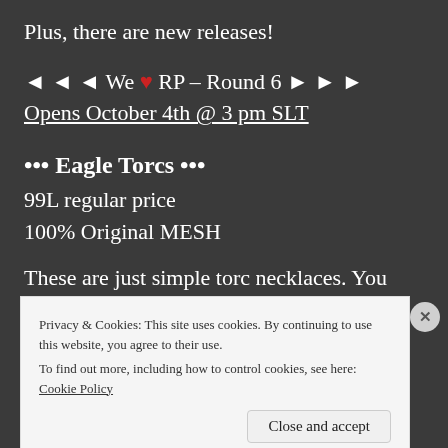Plus, there are new releases!
◄ ◄ ◄ We ♥ RP – Round 6 ► ► ►
Opens October 4th @ 3 pm SLT
••• Eagle Torcs •••
99L regular price
100% Original MESH
These are just simple torc necklaces. You
Privacy & Cookies: This site uses cookies. By continuing to use this website, you agree to their use.
To find out more, including how to control cookies, see here: Cookie Policy
Close and accept